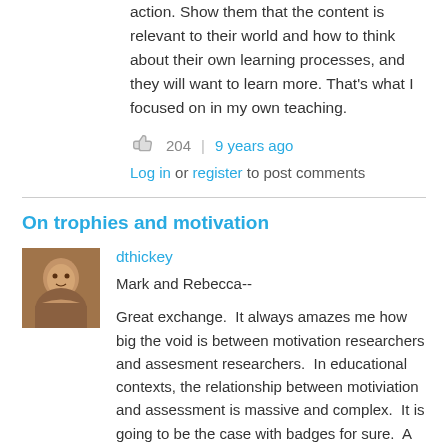action. Show them that the content is relevant to their world and how to think about their own learning processes, and they will want to learn more. That's what I focused on in my own teaching.
204  |  9 years ago
Log in or register to post comments
On trophies and motivation
[Figure (photo): Profile photo of user dthickey, a middle-aged man]
dthickey
Mark and Rebecca--
Great exchange.  It always amazes me how big the void is between motivation researchers and assesment researchers.  In educational contexts, the relationship between motiviation and assessment is massive and complex.  It is going to be the case with badges for sure.  A